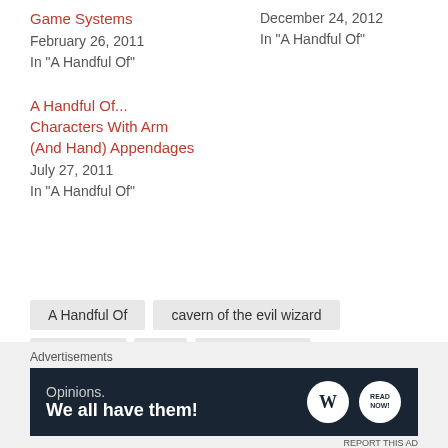Game Systems
February 26, 2011
In "A Handful Of"
December 24, 2012
In "A Handful Of"
A Handful Of... Characters With Arm (And Hand) Appendages
July 27, 2011
In "A Handful Of"
A Handful Of
cavern of the evil wizard
christmas
list
video games
Advertisements
[Figure (infographic): WordPress advertisement banner: 'Opinions. We all have them!' with WordPress and another logo on dark navy background]